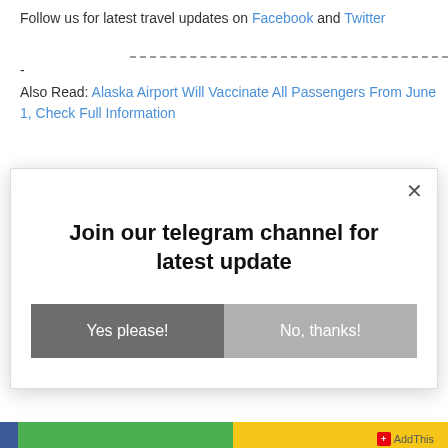Follow us for latest travel updates on Facebook and Twitter
-
Also Read: Alaska Airport Will Vaccinate All Passengers From June 1, Check Full Information
[Figure (screenshot): Popup modal with close button (×), bold title 'Join our telegram channel for latest update', and two buttons: 'Yes please!' (dark gray) and 'No, thanks!' (light gray)]
AddThis